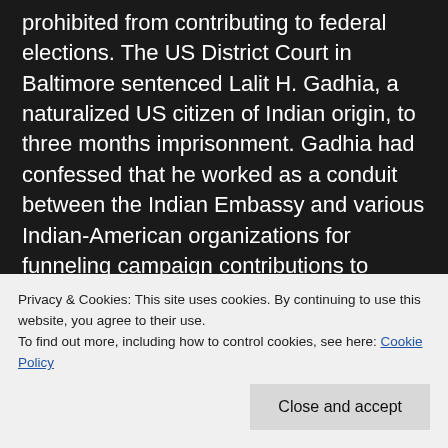prohibited from contributing to federal elections. The US District Court in Baltimore sentenced Lalit H. Gadhia, a naturalized US citizen of Indian origin, to three months imprisonment. Gadhia had confessed that he worked as a conduit between the Indian Embassy and various Indian-American organizations for funneling campaign contributions to influence US lawmakers. Over US $46,000 from the Indian Embassy were distributed among 20 Congressional candidates. The source of the cash used by Gadhia was Devendra Singh, a RAW official assigned to the Indian Embassy in Washington. Now Raw is adopting the same tli...
Privacy & Cookies: This site uses cookies. By continuing to use this website, you agree to their use.
To find out more, including how to control cookies, see here: Cookie Policy
Close and accept
August, Balochistan Chief Minister Jam Mohammad Yusaf